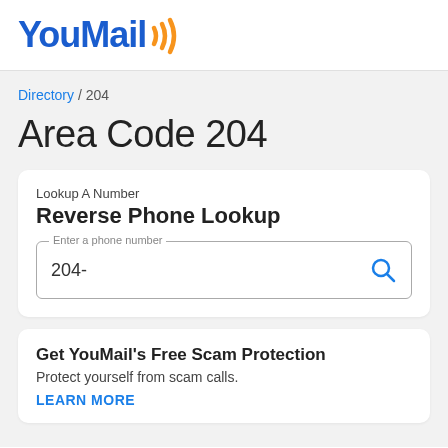YouMail
Directory / 204
Area Code 204
Lookup A Number
Reverse Phone Lookup
204-
Get YouMail's Free Scam Protection
Protect yourself from scam calls.
LEARN MORE